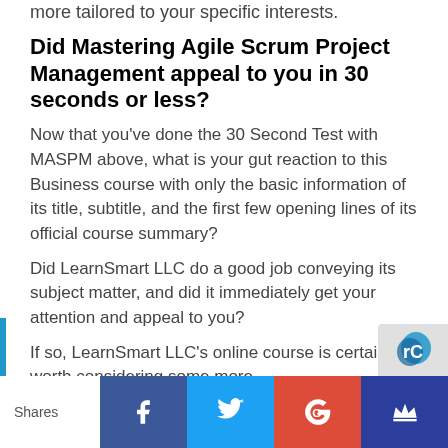more tailored to your specific interests.
Did Mastering Agile Scrum Project Management appeal to you in 30 seconds or less?
Now that you’ve done the 30 Second Test with MASPM above, what is your gut reaction to this Business course with only the basic information of its title, subtitle, and the first few opening lines of its official course summary?
Did LearnSmart LLC do a good job conveying its subject matter, and did it immediately get your attention and appeal to you?
If so, LearnSmart LLC’s online course is certainly worth considering some more.
Shares